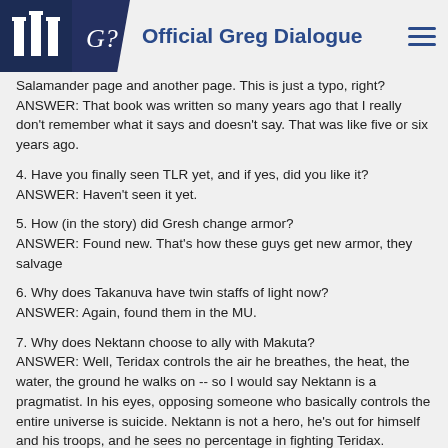Official Greg Dialogue
Salamander page and another page. This is just a typo, right?
ANSWER: That book was written so many years ago that I really don't remember what it says and doesn't say. That was like five or six years ago.
4. Have you finally seen TLR yet, and if yes, did you like it?
ANSWER: Haven't seen it yet.
5. How (in the story) did Gresh change armor?
ANSWER: Found new. That's how these guys get new armor, they salvage
6. Why does Takanuva have twin staffs of light now?
ANSWER: Again, found them in the MU.
7. Why does Nektann choose to ally with Makuta?
ANSWER: Well, Teridax controls the air he breathes, the heat, the water, the ground he walks on -- so I would say Nektann is a pragmatist. In his eyes, opposing someone who basically controls the entire universe is suicide. Nektann is not a hero, he's out for himself and his troops, and he sees no percentage in fighting Teridax.
8. Since in the 5th comic it is stated Makuta crushed all rebellion inside of him,